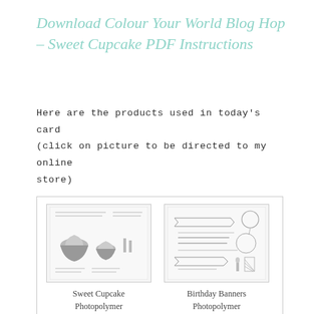Download Colour Your World Blog Hop – Sweet Cupcake PDF Instructions
Here are the products used in today's card (click on picture to be directed to my online store)
[Figure (illustration): Two product images side by side: Sweet Cupcake Photopolymer Stamp Set and Birthday Banners Photopolymer Stamp Set, shown as stamp sheet illustrations with cupcake and birthday banner motifs respectively.]
Sweet Cupcake Photopolymer Stamp Set –
Birthday Banners Photopolymer Stamp Set –